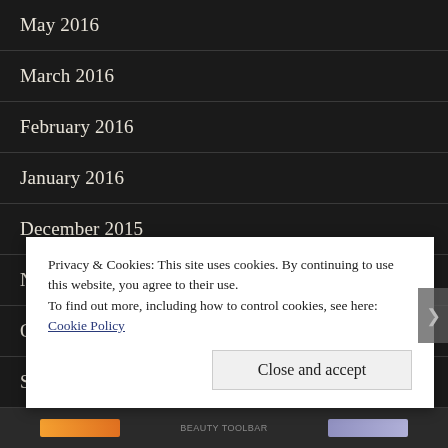May 2016
March 2016
February 2016
January 2016
December 2015
November 2015
October 2015
September 2015
July 2015
Privacy & Cookies: This site uses cookies. By continuing to use this website, you agree to their use. To find out more, including how to control cookies, see here: Cookie Policy
Close and accept